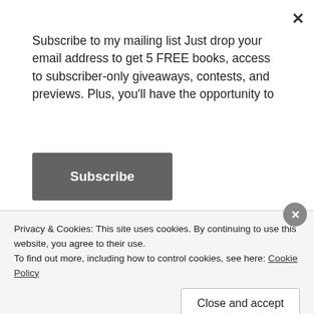Subscribe to my mailing list Just drop your email address to get 5 FREE books, access to subscriber-only giveaways, contests, and previews. Plus, you'll have the opportunity to
Subscribe
Want to sell more books at live events? Free resource for a limited time!
How POD books are created
Color Printing and the Cost impact of Children's books
Privacy & Cookies: This site uses cookies. By continuing to use this website, you agree to their use.
To find out more, including how to control cookies, see here: Cookie Policy
Close and accept